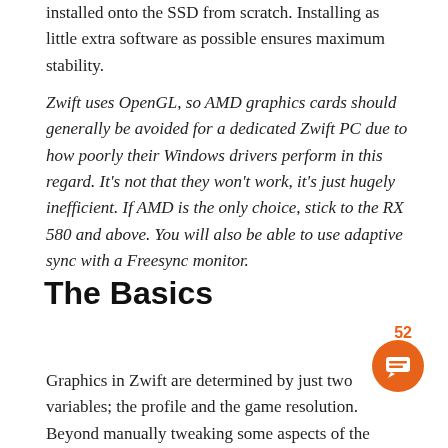installed onto the SSD from scratch. Installing as little extra software as possible ensures maximum stability.
Zwift uses OpenGL, so AMD graphics cards should generally be avoided for a dedicated Zwift PC due to how poorly their Windows drivers perform in this regard. It's not that they won't work, it's just hugely inefficient. If AMD is the only choice, stick to the RX 580 and above. You will also be able to use adaptive sync with a Freesync monitor.
The Basics
52
[Figure (other): Orange circular chat bubble icon]
Graphics in Zwift are determined by just two variables; the profile and the game resolution. Beyond manually tweaking some aspects of the configuration files (there's a brilliant guide here on Zwift Insider) only